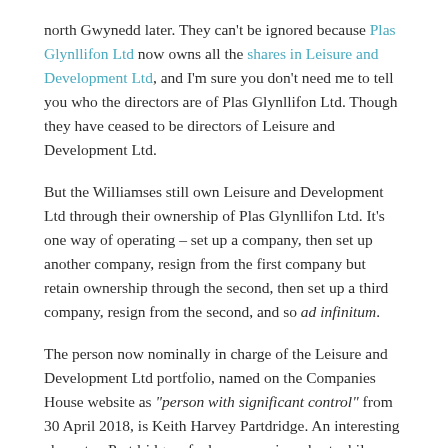north Gwynedd later. They can't be ignored because Plas Glynllifon Ltd now owns all the shares in Leisure and Development Ltd, and I'm sure you don't need me to tell you who the directors are of Plas Glynllifon Ltd. Though they have ceased to be directors of Leisure and Development Ltd.
But the Williamses still own Leisure and Development Ltd through their ownership of Plas Glynllifon Ltd. It's one way of operating – set up a company, then set up another company, resign from the first company but retain ownership through the second, then set up a third company, resign from the second, and so ad infinitum.
The person now nominally in charge of the Leisure and Development Ltd portfolio, named on the Companies House website as "person with significant control" from 30 April 2018, is Keith Harvey Partdridge. An interesting character, Partdridge, of whom more in a short while.